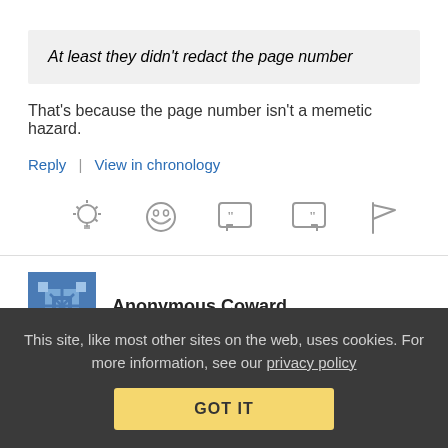At least they didn't redact the page number
That's because the page number isn't a memetic hazard.
Reply | View in chronology
[Figure (other): Row of five icon buttons: lightbulb, laughing face, open quote speech bubble, close quote speech bubble, flag]
Anonymous Coward
November 14, 2013 at 7:48 pm
This site, like most other sites on the web, uses cookies. For more information, see our privacy policy GOT IT